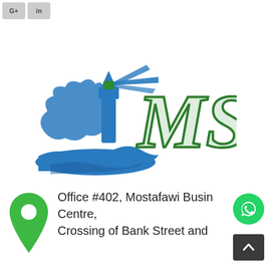[Figure (logo): MS company logo with a blue lighthouse and waves on the left, and green stylized 'MS' letters on the right]
Office #402, Mostafawi Business Centre, Crossing of Bank Street and